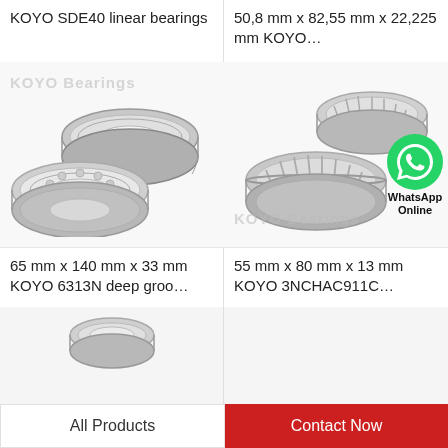KOYO SDE40 linear bearings
[Figure (photo): Two ball bearings (KOYO brand) shown side by side, open face, metallic silver. Watermark text 'KOYO Bearings' visible.]
65 mm x 140 mm x 33 mm KOYO 6313N deep groo…
50,8 mm x 82,55 mm x 22,225 mm KOYO…
[Figure (photo): Two tapered roller bearings (KOYO brand) with WhatsApp icon overlay and text 'WhatsApp Online'. Watermark text 'KOYO Bearings' visible.]
55 mm x 80 mm x 13 mm KOYO 3NCHAC911C…
All Products
Contact Now